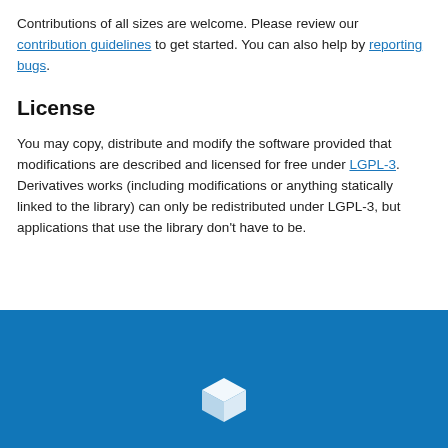Contributions of all sizes are welcome. Please review our contribution guidelines to get started. You can also help by reporting bugs.
License
You may copy, distribute and modify the software provided that modifications are described and licensed for free under LGPL-3. Derivatives works (including modifications or anything statically linked to the library) can only be redistributed under LGPL-3, but applications that use the library don't have to be.
[Figure (logo): White cube icon on blue background footer bar]